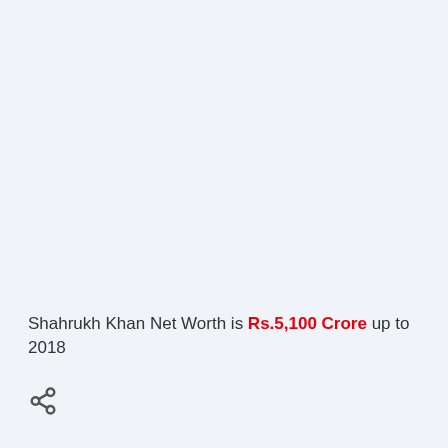Shahrukh Khan Net Worth is Rs.5,100 Crore up to 2018